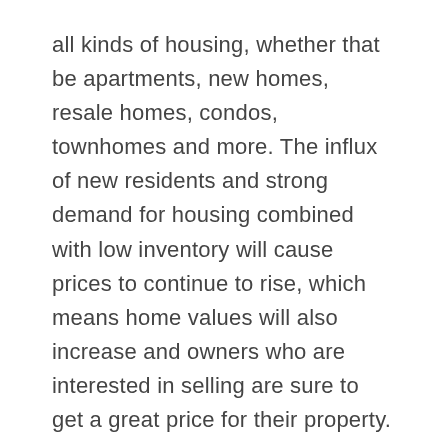all kinds of housing, whether that be apartments, new homes, resale homes, condos, townhomes and more. The influx of new residents and strong demand for housing combined with low inventory will cause prices to continue to rise, which means home values will also increase and owners who are interested in selling are sure to get a great price for their property.
3. Spring is Coming
In many cities, the spring and summer seasons are the busiest for the real estate market, which means that if you're thinking